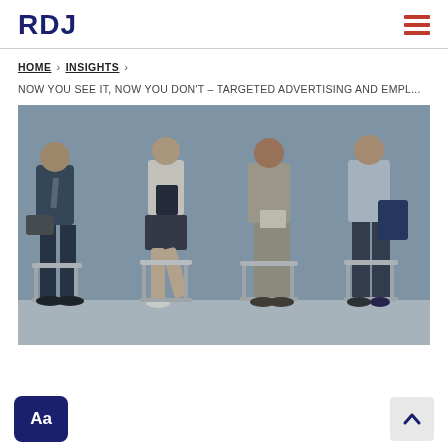RDJ
HOME > INSIGHTS >
NOW YOU SEE IT, NOW YOU DON'T – TARGETED ADVERTISING AND EMPL...
[Figure (photo): Four people sitting on chairs in a row, dressed in business attire, holding tablets and documents, appearing to wait for a job interview. Black and white / blue-tinted photograph.]
Aa
Scroll to top arrow button